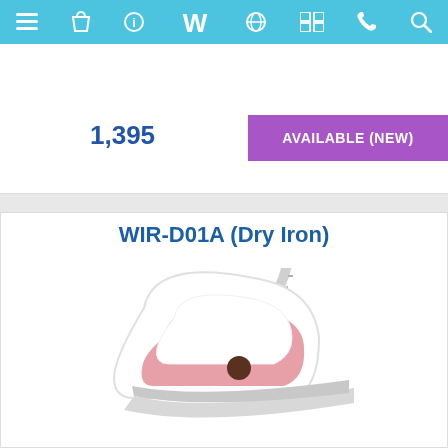Navigation bar with menu, bag, info, W logo, globe, catalog, phone, search icons
1,395
AVAILABLE (NEW)
WIR-D01A (Dry Iron)
[Figure (photo): White and pink dry iron shown from above-side angle, handle visible with cord extending upward]